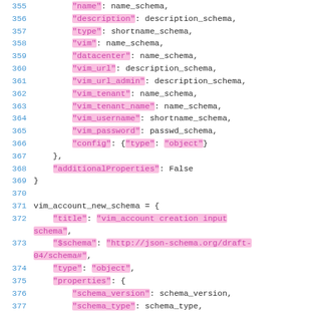Code listing lines 355-377: Python/JSON schema definition showing vim_account schema properties and vim_account_new_schema definition